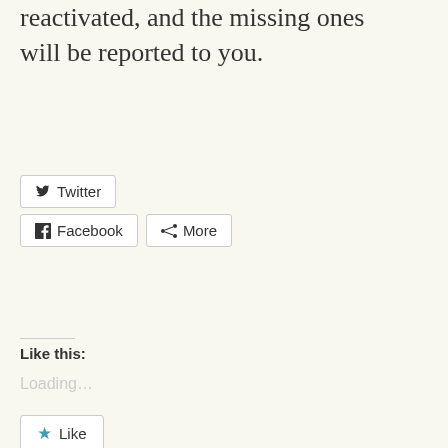reactivated, and the missing ones will be reported to you.
[Figure (other): Social share buttons: Twitter, Facebook, More]
Like this:
Loading...
[Figure (other): Like button with star icon]
Be the first to like this.
2007-04-20 17:30:59 # 34 Comments
[Figure (photo): Partial image visible at bottom of page]